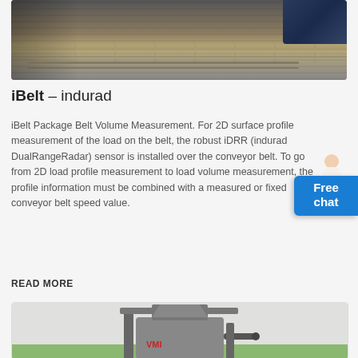[Figure (photo): Industrial conveyor belt machinery photograph, showing belt surface and equipment in upper right corner]
iBelt – indurad
iBelt Package Belt Volume Measurement. For 2D surface profile measurement of the load on the belt, the robust iDRR (indurad DualRangeRadar) sensor is installed over the conveyor belt. To go from 2D load profile measurement to load volume measurement, the profile information must be combined with a measured or fixed conveyor belt speed value.
READ MORE
[Figure (photo): Industrial grinding or milling machine (cylindrical, grey) with VMI branding in red, photographed outdoors with green foliage in background]